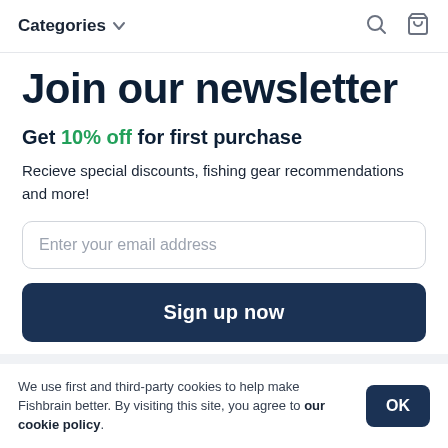Categories
Join our newsletter
Get 10% off for first purchase
Recieve special discounts, fishing gear recommendations and more!
Enter your email address
Sign up now
We use first and third-party cookies to help make Fishbrain better. By visiting this site, you agree to our cookie policy.